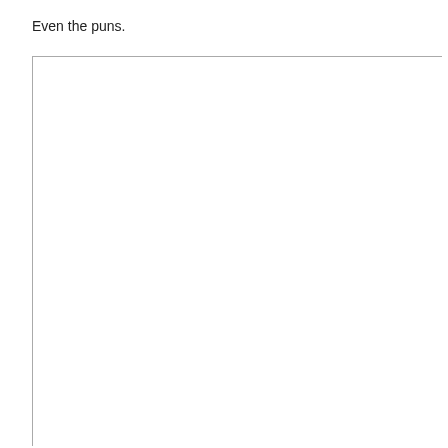Even the puns.
[Figure (other): A large empty white rectangle bordered on the top and left sides with a gray line, occupying most of the lower portion of the page.]